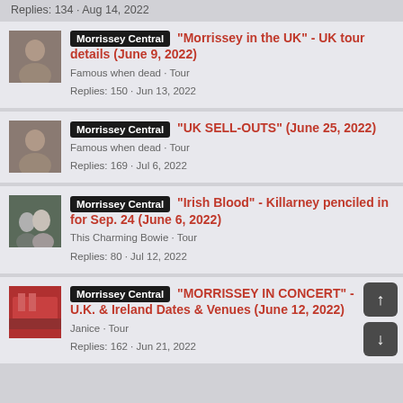Replies: 134 · Aug 14, 2022
Morrissey Central "Morrissey in the UK" - UK tour details (June 9, 2022) | Famous when dead · Tour | Replies: 150 · Jun 13, 2022
Morrissey Central "UK SELL-OUTS" (June 25, 2022) | Famous when dead · Tour | Replies: 169 · Jul 6, 2022
Morrissey Central "Irish Blood" - Killarney penciled in for Sep. 24 (June 6, 2022) | This Charming Bowie · Tour | Replies: 80 · Jul 12, 2022
Morrissey Central "MORRISSEY IN CONCERT" - U.K. & Ireland Dates & Venues (June 12, 2022) | Janice · Tour | Replies: 162 · Jun 21, 2022